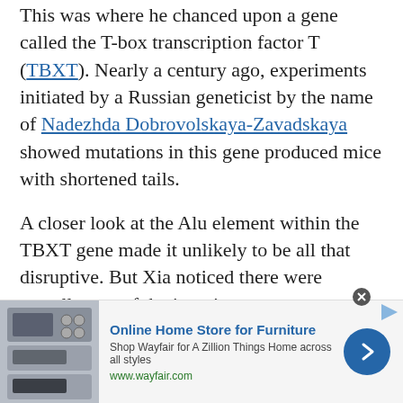This was where he chanced upon a gene called the T-box transcription factor T (TBXT). Nearly a century ago, experiments initiated by a Russian geneticist by the name of Nadezhda Dobrovolskaya-Zavadskaya showed mutations in this gene produced mice with shortened tails.
A closer look at the Alu element within the TBXT gene made it unlikely to be all that disruptive. But Xia noticed there were actually two of the jumping genes present in close proximity.
Together, they could mess up the gene's expression good and proper, explaining why apes like us have nothing dangling from our bums.
[Figure (other): Advertisement banner for Wayfair Online Home Store for Furniture with product image on left, text in center, and blue circular arrow button on right]